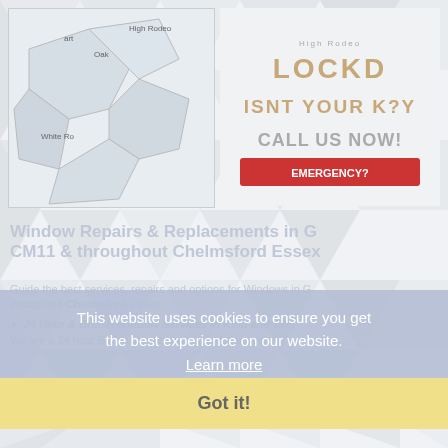[Figure (screenshot): Background geometric triangle pattern in light grey/white tones filling the entire page]
[Figure (map): Map snippet showing location labels: High Rodeo, art, Oak, White Ro]
[Figure (infographic): Advertisement banner with brand text, 'ISNT YOUR K?Y' and 'CALL US NOW!' in orange/tan colors]
Window Repairs & Replacements in G CM11 & throughout Chelmsford Essex
Guide best services, repairs and options for Windows in G throughout Chelmsford Essex.
24 hour & British Window Services in Kind and 92m
We are a 24 hour British standard window repair and
This website uses cookies to ensure you get the best experience on our website. Learn more
Got it!